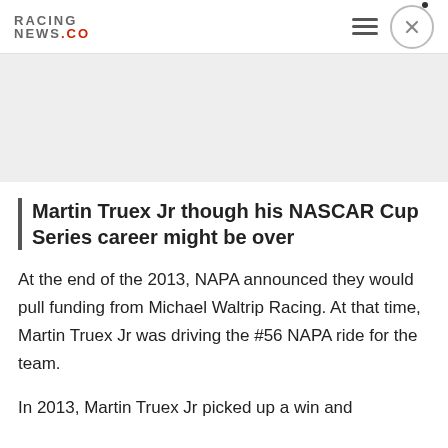RACING NEWS.CO
[Figure (other): Grey advertisement banner placeholder]
Martin Truex Jr though his NASCAR Cup Series career might be over
At the end of the 2013, NAPA announced they would pull funding from Michael Waltrip Racing. At that time, Martin Truex Jr was driving the #56 NAPA ride for the team.
In 2013, Martin Truex Jr picked up a win and